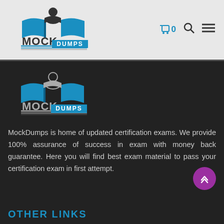[Figure (logo): MockDumps logo - top header, light background]
🛒 0  🔍  ☰
[Figure (logo): MockDumps logo - dark footer section]
MockDumps is home of updated certification exams. We provide 100% assurance of success in exam with money back guarantee. Here you will find best exam material to pass your certification exam in first attempt.
OTHER LINKS